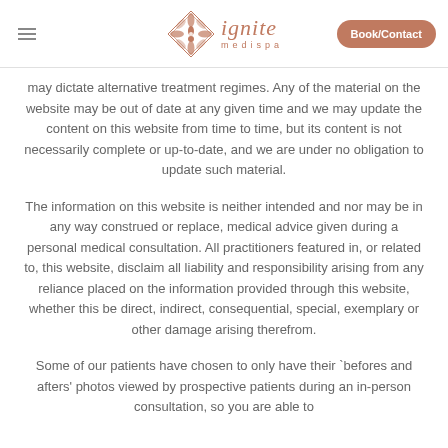ignite medispa — Book/Contact
may dictate alternative treatment regimes. Any of the material on the website may be out of date at any given time and we may update the content on this website from time to time, but its content is not necessarily complete or up-to-date, and we are under no obligation to update such material.
The information on this website is neither intended and nor may be in any way construed or replace, medical advice given during a personal medical consultation. All practitioners featured in, or related to, this website, disclaim all liability and responsibility arising from any reliance placed on the information provided through this website, whether this be direct, indirect, consequential, special, exemplary or other damage arising therefrom.
Some of our patients have chosen to only have their `befores and afters' photos viewed by prospective patients during an in-person consultation, so you are able to